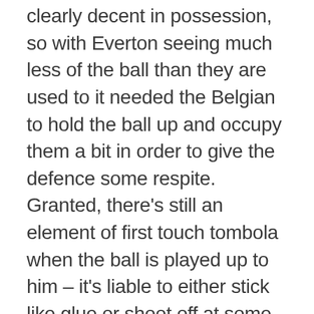clearly decent in possession, so with Everton seeing much less of the ball than they are used to it needed the Belgian to hold the ball up and occupy them a bit in order to give the defence some respite. Granted, there's still an element of first touch tombola when the ball is played up to him – it's liable to either stick like glue or shoot off at some alarming 'that piss in the middle of the night that drenches the bath mat' angle – but he battled, won the odd header and generally 'put a shift in'. On top of that he scored a very typical Lukaku goal, bundling past defenders on the break from the halfway line before